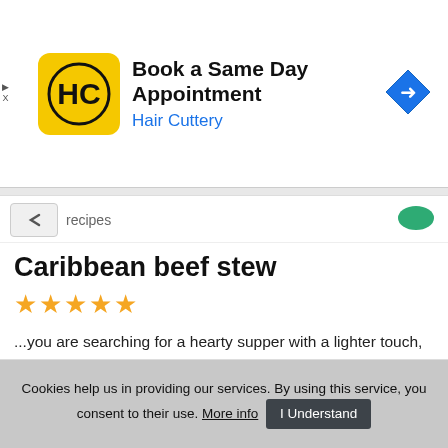[Figure (screenshot): Hair Cuttery advertisement banner with yellow square logo with HC text, ad title 'Book a Same Day Appointment', subtitle 'Hair Cuttery', and blue navigation arrow icon on right]
recipes
Caribbean beef stew
★★★★★ (5 stars)
...you are searching for a hearty supper with a lighter touch, you ... cannot find a better option than this Caribbean beef stew recipe. In fact, it is one of the best...
Similar recipes like Caribbean beef stew
♥ 7  👍 59  ⏱ 45 min
Cookies help us in providing our services. By using this service, you consent to their use. More info  I Understand